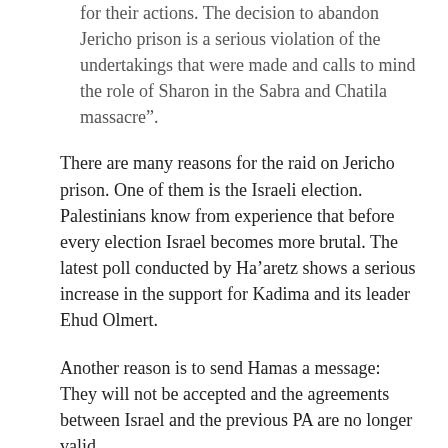for their actions. The decision to abandon Jericho prison is a serious violation of the undertakings that were made and calls to mind the role of Sharon in the Sabra and Chatila massacre”.
There are many reasons for the raid on Jericho prison. One of them is the Israeli election. Palestinians know from experience that before every election Israel becomes more brutal. The latest poll conducted by Ha’aretz shows a serious increase in the support for Kadima and its leader Ehud Olmert.
Another reason is to send Hamas a message: They will not be accepted and the agreements between Israel and the previous PA are no longer valid.
The arrival of Israeli tanks just twenty minutes after the withdrawal of the British and American guards from the prison shows that Israel is not the only one sending this